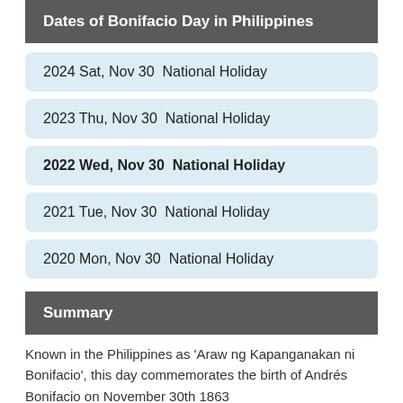Dates of Bonifacio Day in Philippines
2024 Sat, Nov 30  National Holiday
2023 Thu, Nov 30  National Holiday
2022 Wed, Nov 30  National Holiday
2021 Tue, Nov 30  National Holiday
2020 Mon, Nov 30  National Holiday
Summary
Known in the Philippines as 'Araw ng Kapanganakan ni Bonifacio', this day commemorates the birth of Andrés Bonifacio on November 30th 1863